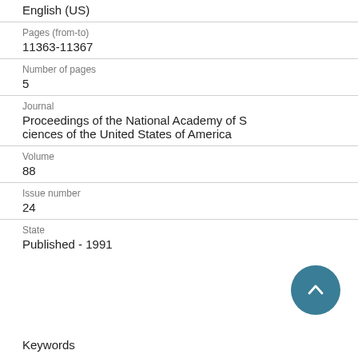English (US)
Pages (from-to)
11363-11367
Number of pages
5
Journal
Proceedings of the National Academy of Sciences of the United States of America
Volume
88
Issue number
24
State
Published - 1991
Keywords